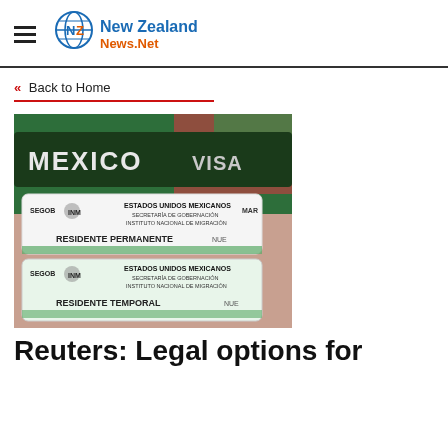NZ New Zealand News.Net
« Back to Home
[Figure (photo): Mexico visa card and two Mexican residency cards (Residente Permanente and Residente Temporal) issued by SEGOB / INM - Instituto Nacional de Migración, Estados Unidos Mexicanos]
Reuters: Legal options for